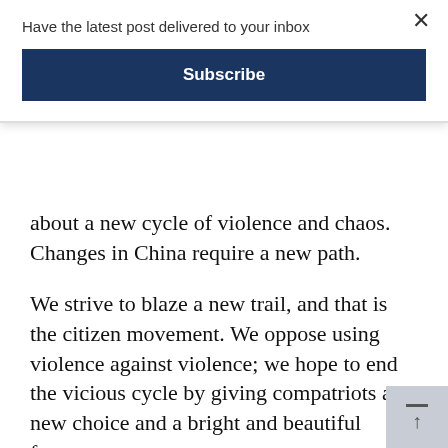Have the latest post delivered to your inbox
Subscribe
about a new cycle of violence and chaos. Changes in China require a new path.
We strive to blaze a new trail, and that is the citizen movement. We oppose using violence against violence; we hope to end the vicious cycle by giving compatriots a new choice and a bright and beautiful future.
No matter what pressure I may be confronted with, I am a citizen. No one has the right to deprive me of my citizenship, and no one has the right to deprive me of my dream of being a